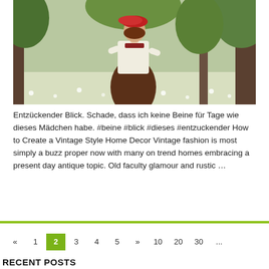[Figure (photo): Woman wearing a red beret, white blouse, and dark brown long skirt standing in a park with trees and white flowers on the ground.]
Entzückender Blick. Schade, dass ich keine Beine für Tage wie dieses Mädchen habe. #beine #blick #dieses #entzuckender How to Create a Vintage Style Home Decor Vintage fashion is most simply a buzz proper now with many on trend homes embracing a present day antique topic. Old faculty glamour and rustic …
Read More »
« 1 2 3 4 5 » 10 20 30 ... Page 2 of 96 Last »
RECENT POSTS